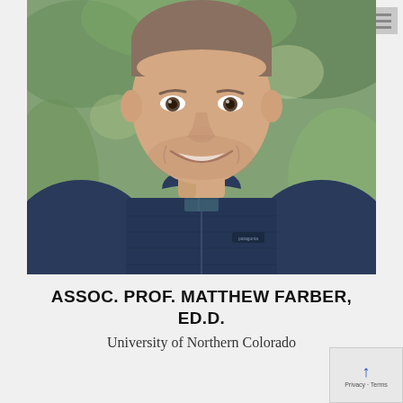[Figure (photo): Headshot of a smiling man wearing a navy blue quilted Patagonia vest over a plaid shirt, with a blurred outdoor background]
ASSOC. PROF. MATTHEW FARBER, ED.D.
University of Northern Colorado